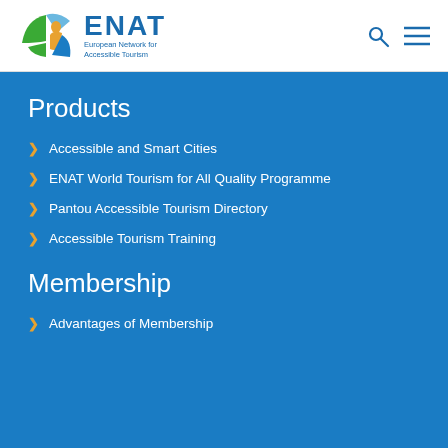ENAT European Network for Accessible Tourism
Products
Accessible and Smart Cities
ENAT World Tourism for All Quality Programme
Pantou Accessible Tourism Directory
Accessible Tourism Training
Membership
Advantages of Membership